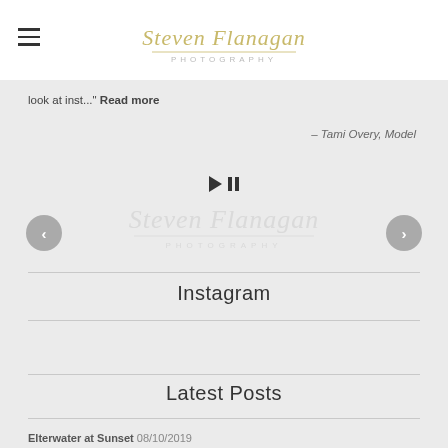Steven Flanagan Photography
look at inst..." Read more
– Tami Overy, Model
[Figure (other): Slideshow controls with play and pause buttons and navigation arrows, with Steven Flanagan Photography watermark logo in background]
Instagram
Latest Posts
Elterwater at Sunset 08/10/2019
Caernarfon Castle 08/08/2019